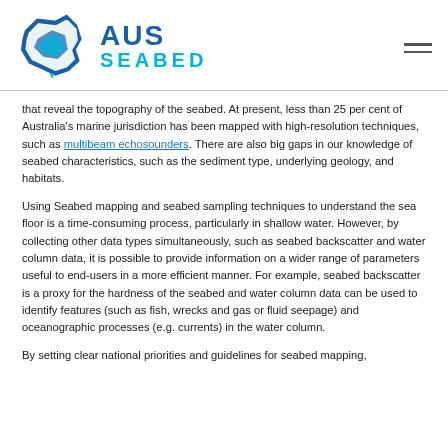[Figure (logo): AUSSeabed logo with stylized blue Australia map outline and brand name AUS SEABED]
that reveal the topography of the seabed. At present, less than 25 per cent of Australia's marine jurisdiction has been mapped with high-resolution techniques, such as multibeam echosounders. There are also big gaps in our knowledge of seabed characteristics, such as the sediment type, underlying geology, and habitats.
Using Seabed mapping and seabed sampling techniques to understand the sea floor is a time-consuming process, particularly in shallow water. However, by collecting other data types simultaneously, such as seabed backscatter and water column data, it is possible to provide information on a wider range of parameters useful to end-users in a more efficient manner. For example, seabed backscatter is a proxy for the hardness of the seabed and water column data can be used to identify features (such as fish, wrecks and gas or fluid seepage) and oceanographic processes (e.g. currents) in the water column.
By setting clear national priorities and guidelines for seabed mapping,